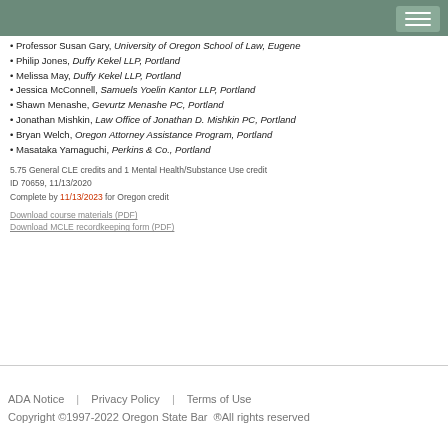Professor Susan Gary, University of Oregon School of Law, Eugene
Philip Jones, Duffy Kekel LLP, Portland
Melissa May, Duffy Kekel LLP, Portland
Jessica McConnell, Samuels Yoelin Kantor LLP, Portland
Shawn Menashe, Gevurtz Menashe PC, Portland
Jonathan Mishkin, Law Office of Jonathan D. Mishkin PC, Portland
Bryan Welch, Oregon Attorney Assistance Program, Portland
Masataka Yamaguchi, Perkins & Co., Portland
5.75 General CLE credits and 1 Mental Health/Substance Use credit
ID 70659, 11/13/2020
Complete by 11/13/2023 for Oregon credit
Download course materials (PDF)
Download MCLE recordkeeping form (PDF)
ADA Notice | Privacy Policy | Terms of Use
Copyright ©1997-2022 Oregon State Bar ®All rights reserved